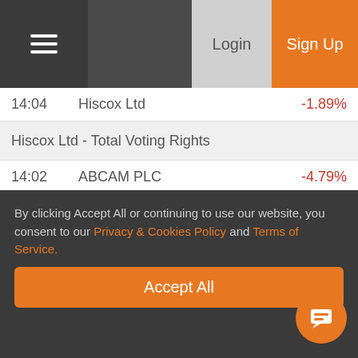Login | Sign Up
14:04   Hiscox Ltd   -1.89%
Hiscox Ltd - Total Voting Rights
14:02   ABCAM PLC   -4.79%
ABCAM PLC - Abcam attend Morgan Stanley Healthcare Conference
14:00   Rio Tinto plc   -3.43%
Rio Tinto - Total Voting Rights
14:00   IRSH LSE
JPMorgan ETFs (Ire.) - Dividend Declaration
By clicking Accept All or continuing to use our website, you consent to our Privacy & Cookies Policy and Terms of Service.